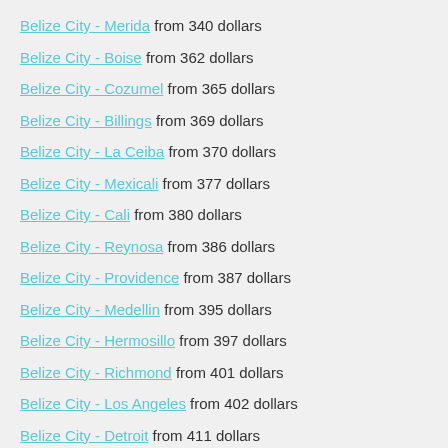Belize City - Merida from 340 dollars
Belize City - Boise from 362 dollars
Belize City - Cozumel from 365 dollars
Belize City - Billings from 369 dollars
Belize City - La Ceiba from 370 dollars
Belize City - Mexicali from 377 dollars
Belize City - Cali from 380 dollars
Belize City - Reynosa from 386 dollars
Belize City - Providence from 387 dollars
Belize City - Medellin from 395 dollars
Belize City - Hermosillo from 397 dollars
Belize City - Richmond from 401 dollars
Belize City - Los Angeles from 402 dollars
Belize City - Detroit from 411 dollars
Belize City - Monterrey from 412 dollars
Belize City - Mexico City from 415 dollars
Belize City - Medford from 424 dollars